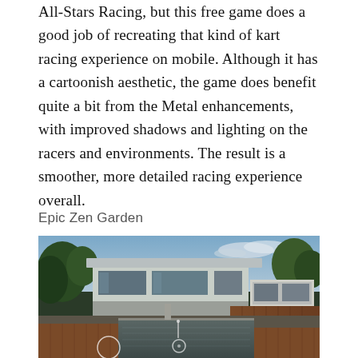All-Stars Racing, but this free game does a good job of recreating that kind of kart racing experience on mobile. Although it has a cartoonish aesthetic, the game does benefit quite a bit from the Metal enhancements, with improved shadows and lighting on the racers and environments. The result is a smoother, more detailed racing experience overall.
Epic Zen Garden
[Figure (photo): A rendered image of a modern luxury house with concrete architecture, large windows, wooden deck areas, a reflective pool/water feature in the foreground, surrounded by lush trees and greenery, with a partly cloudy sky. Circular UI elements (game navigation icons) are visible at the bottom.]